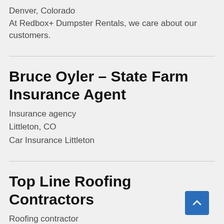Denver, Colorado
At Redbox+ Dumpster Rentals, we care about our customers.
Bruce Oyler – State Farm Insurance Agent
Insurance agency
Littleton, CO
Car Insurance Littleton
Top Line Roofing Contractors
Roofing contractor
Portland, OR